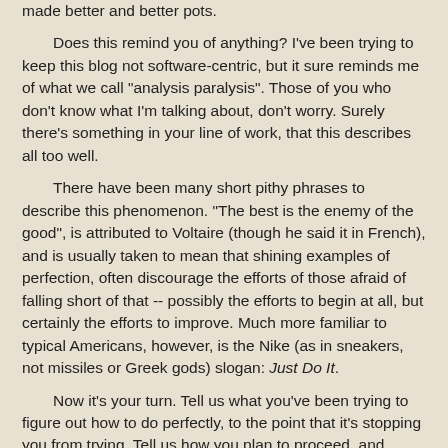made better and better pots.
Does this remind you of anything?  I've been trying to keep this blog not software-centric, but it sure reminds me of what we call "analysis paralysis".  Those of you who don't know what I'm talking about, don't worry.  Surely there's something in your line of work, that this describes all too well.
There have been many short pithy phrases to describe this phenomenon.  "The best is the enemy of the good", is attributed to Voltaire (though he said it in French), and is usually taken to mean that shining examples of perfection, often discourage the efforts of those afraid of falling short of that -- possibly the efforts to begin at all, but certainly the efforts to improve.  Much more familiar to typical Americans, however, is the Nike (as in sneakers, not missiles or Greek gods) slogan: Just Do It.
Now it's your turn.  Tell us what you've been trying to figure out how to do perfectly, to the point that it's stopping you from trying.  Tell us how you plan to proceed, and improve on its imperfections.  Don't worry about making your